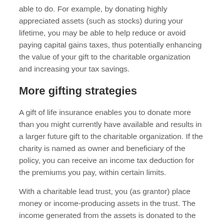able to do. For example, by donating highly appreciated assets (such as stocks) during your lifetime, you may be able to help reduce or avoid paying capital gains taxes, thus potentially enhancing the value of your gift to the charitable organization and increasing your tax savings.
More gifting strategies
A gift of life insurance enables you to donate more than you might currently have available and results in a larger future gift to the charitable organization. If the charity is named as owner and beneficiary of the policy, you can receive an income tax deduction for the premiums you pay, within certain limits.
With a charitable lead trust, you (as grantor) place money or income-producing assets in the trust. The income generated from the assets is donated to the charitable organization for the duration of the trust. At the end of the trust period, the remaining assets